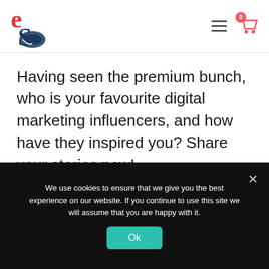eStar logo, hamburger menu, cart with 0 items
Having seen the premium bunch, who is your favourite digital marketing influencers, and how have they inspired you? Share your stories now!
[Figure (other): Contact us button - coral/salmon rounded rectangle]
We use cookies to ensure that we give you the best experience on our website. If you continue to use this site we will assume that you are happy with it.
Ok